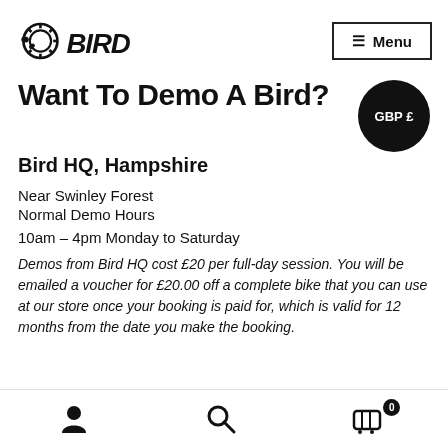[Figure (logo): BIRD cycling brand logo with chain/gear icon]
≡ Menu
Want To Demo A Bird?
Bird HQ, Hampshire
Near Swinley Forest
Normal Demo Hours
10am – 4pm Monday to Saturday
Demos from Bird HQ cost £20 per full-day session. You will be emailed a voucher for £20.00 off a complete bike that you can use at our store once your booking is paid for, which is valid for 12 months from the date you make the booking.
User account | Search | Cart (0)